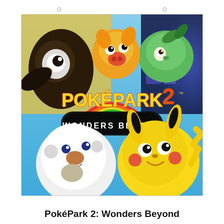[Figure (illustration): PokéPark 2: Wonders Beyond video game cover art showing Pikachu, Oshawott, Snivy, Tepig, and other Pokémon characters with a colorful rainbow background and the game logo prominently displayed.]
PokéPark 2: Wonders Beyond